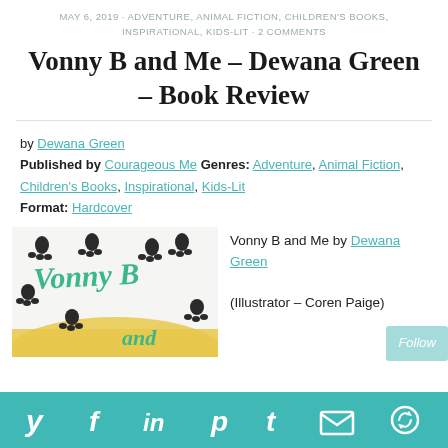MAY 6, 2019 · ADVENTURE, ANIMAL FICTION, CHILDREN'S BOOKS, INSPIRATIONAL, KIDS-LIT · 2 COMMENTS
Vonny B and Me – Dewana Green – Book Review
by Dewana Green
Published by Courageous Me Genres: Adventure, Animal Fiction, Children's Books, Inspirational, Kids-Lit
Format: Hardcover
[Figure (photo): Book cover of Vonny B and Me showing paw prints, the title in green handwritten text, and a yellow surface at the bottom]
Vonny B and Me by Dewana Green (Illustrator – Coren Paige)
Social share icons: Twitter, Facebook, LinkedIn, Pinterest, Tumblr, Email, Share